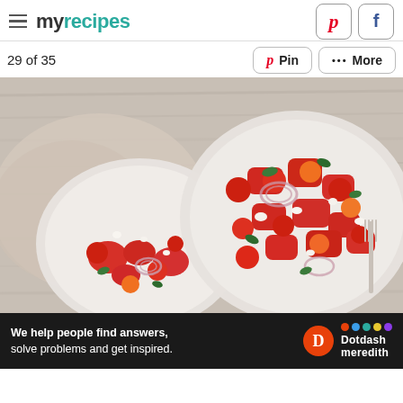myrecipes
29 of 35
[Figure (photo): Two white plates of watermelon tomato salad with red onion, feta cheese, and basil leaves on a rustic wooden table with a linen napkin and fork]
We help people find answers, solve problems and get inspired. Dotdash meredith